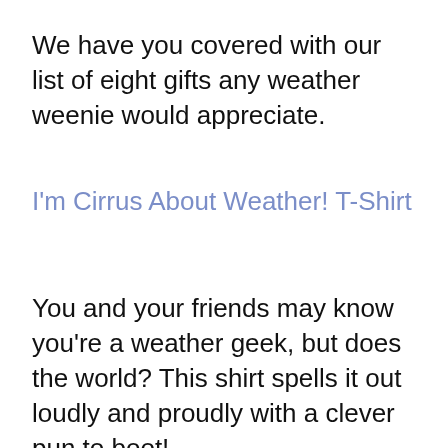We have you covered with our list of eight gifts any weather weenie would appreciate.
I'm Cirrus About Weather! T-Shirt
You and your friends may know you're a weather geek, but does the world? This shirt spells it out loudly and proudly with a clever pun to boot!